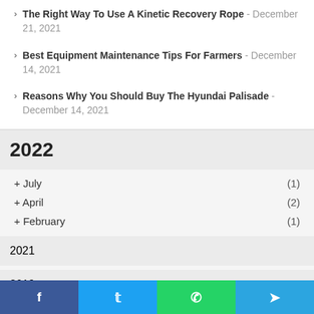The Right Way To Use A Kinetic Recovery Rope - December 21, 2021
Best Equipment Maintenance Tips For Farmers - December 14, 2021
Reasons Why You Should Buy The Hyundai Palisade - December 14, 2021
2022
+ July (1)
+ April (2)
+ February (1)
2021
2019